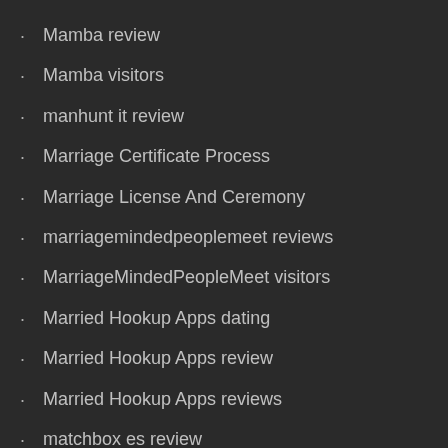Mamba review
Mamba visitors
manhunt it review
Marriage Certificate Process
Marriage License And Ceremony
marriagemindedpeoplemeet reviews
MarriageMindedPeopleMeet visitors
Married Hookup Apps dating
Married Hookup Apps review
Married Hookup Apps reviews
matchbox es review
matchbox visitors
Matchmakers und Coaches kosten